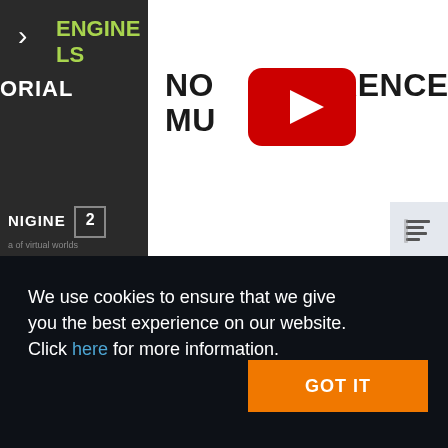[Figure (screenshot): Website screenshot showing a dark sidebar navigation with ENGINE TOOLS label in green, TUTORIAL text in white, and UNIGINE 2 logo at bottom. Main content area shows partial title text 'NODE REFERENCES: MULTITHREADED WORKFLOWS' with a YouTube play button overlay partially obscuring the title.]
We use cookies to ensure that we give you the best experience on our website. Click here for more information.
GOT IT